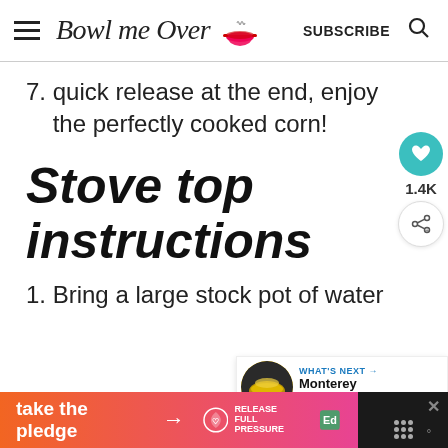Bowl me Over | SUBSCRIBE
7. quick release at the end, enjoy the perfectly cooked corn!
Stove top instructions
1. Bring a large stock pot of water
[Figure (other): Heart/like button (teal circle with heart icon), share count 1.4K, share button]
[Figure (other): What's Next card: Monterey Chicken... with food thumbnail]
[Figure (other): Ad banner: take the pledge with arrow, Release branding, and close button with dots icon]